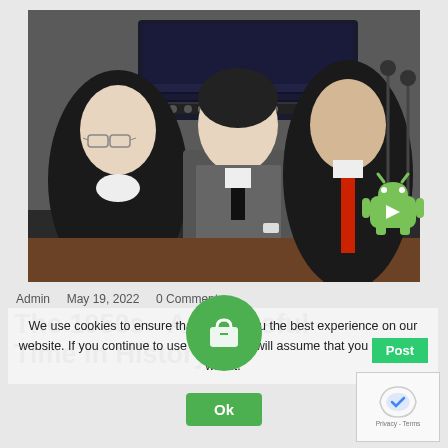[Figure (photo): Three men in a courtroom setting. An older man in black on the left, a young man in gray suit leaning forward in the center, and an older man in black suit with red tie on the right. A TV screen is visible in the background.]
Admin   May 19, 2022   0 Comments
The 1950s - A Stressful Time in History
We use cookies to ensure that we give you the best experience on our website. If you continue to use this site we will assume that you are happy with it.
Ok